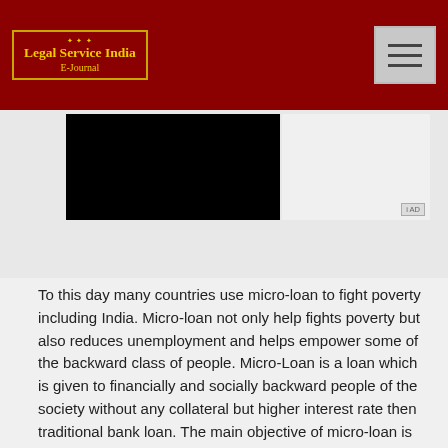Legal Service India E-Journal
[Figure (logo): Legal Service India E-Journal logo with decorative border and golden text on dark red background]
[Figure (photo): Black image area with adjacent advertisement area containing AD label]
To this day many countries use micro-loan to fight poverty including India. Micro-loan not only help fights poverty but also reduces unemployment and helps empower some of the backward class of people. Micro-Loan is a loan which is given to financially and socially backward people of the society without any collateral but higher interest rate then traditional bank loan. The main objective of micro-loan is to help the financially and socially backward class people so that there living standards can be increased leading to a happy and fulfilling life.